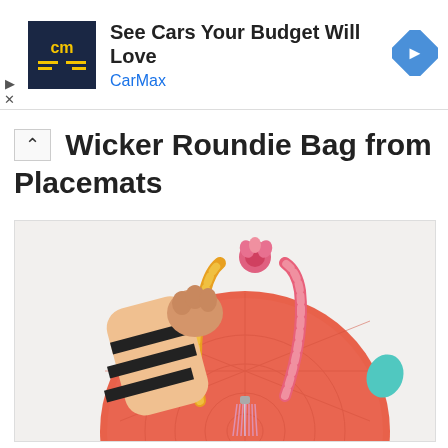[Figure (other): CarMax advertisement banner with logo showing 'cm' in yellow on dark blue background, headline 'See Cars Your Budget Will Love', brand name 'CarMax' in blue, and a blue diamond navigation arrow icon on the right]
Wicker Roundie Bag from Placemats
[Figure (photo): Photo of a person holding a round coral/orange wicker straw bag with colorful floral-patterned fabric handles (yellow, pink, white), a pink tassel charm hanging from the center, a pink flower decoration at the top of the handles, and a teal/blue item peeking from the side. The person is wearing a black and white striped sleeve. Background is plain white.]